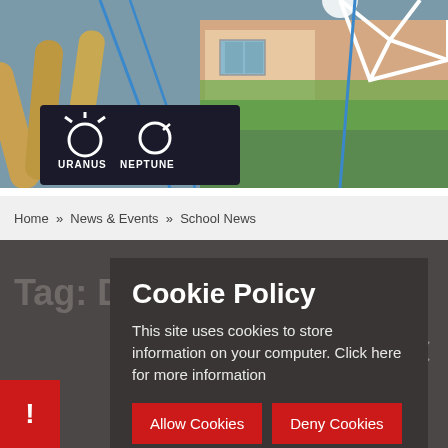[Figure (photo): Outdoor playground equipment including wooden climbing frames with ropes, a black panel with white circle designs labelled URANUS and NEPTUNE, and a school building with colourful mural in the background]
Home » News & Events » School News
Cookie Policy
This site uses cookies to store information on your computer. Click here for more information
Allow Cookies
Deny Cookies